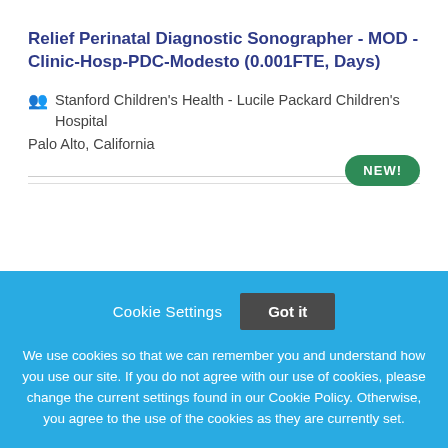Relief Perinatal Diagnostic Sonographer - MOD - Clinic-Hosp-PDC-Modesto (0.001FTE, Days)
Stanford Children's Health - Lucile Packard Children's Hospital
Palo Alto, California
NEW!
Cookie Settings   Got it
We use cookies so that we can remember you and understand how you use our site. If you do not agree with our use of cookies, please change the current settings found in our Cookie Policy. Otherwise, you agree to the use of the cookies as they are currently set.